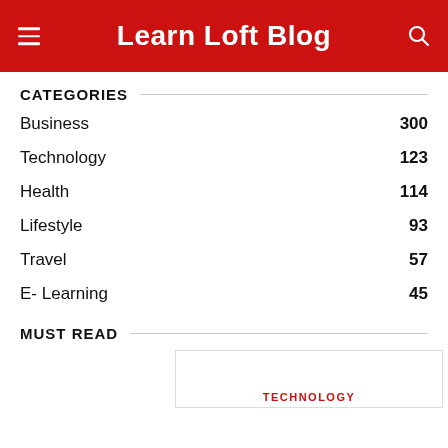Learn Loft Blog
CATEGORIES
Business 300
Technology 123
Health 114
Lifestyle 93
Travel 57
E- Learning 45
MUST READ
TECHNOLOGY